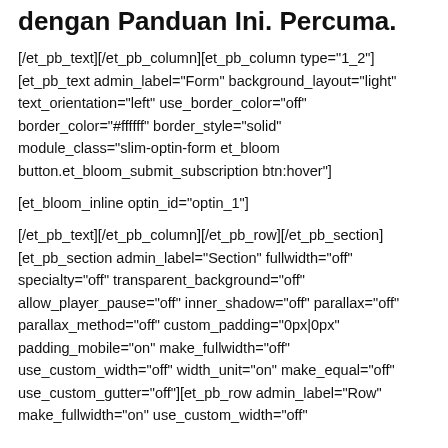dengan Panduan Ini. Percuma.
[/et_pb_text][/et_pb_column][et_pb_column type="1_2"] [et_pb_text admin_label="Form" background_layout="light" text_orientation="left" use_border_color="off" border_color="#ffffff" border_style="solid" module_class="slim-optin-form et_bloom button.et_bloom_submit_subscription btn:hover"]
[et_bloom_inline optin_id="optin_1"]
[/et_pb_text][/et_pb_column][/et_pb_row][/et_pb_section] [et_pb_section admin_label="Section" fullwidth="off" specialty="off" transparent_background="off" allow_player_pause="off" inner_shadow="off" parallax="off" parallax_method="off" custom_padding="0px|0px" padding_mobile="on" make_fullwidth="off" use_custom_width="off" width_unit="on" make_equal="off" use_custom_gutter="off"][et_pb_row admin_label="Row" make_fullwidth="on" use_custom_width="off"